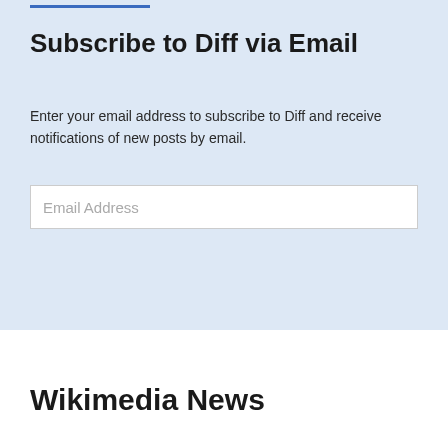Subscribe to Diff via Email
Enter your email address to subscribe to Diff and receive notifications of new posts by email.
Email Address
Subscribe
Wikimedia News